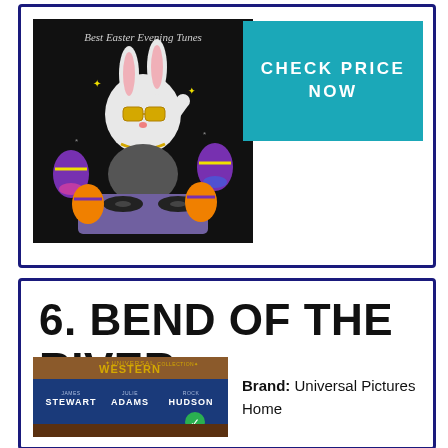[Figure (illustration): Album artwork for 'Best Easter Evening Tunes' showing a cartoon DJ bunny with sunglasses and gold chain, spinning records on turntables, surrounded by colorful Easter eggs on a dark background.]
CHECK PRICE NOW
6. BEND OF THE RIVER
[Figure (illustration): Movie cover for 'Bend of the River' from Universal Western Collection featuring James Stewart, Julie Adams, Rock Hudson.]
Brand: Universal Pictures Home